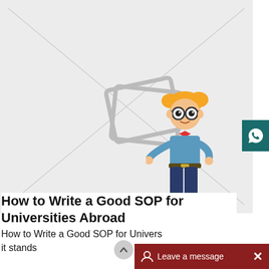[Figure (illustration): Large image placeholder with grey background, diagonal cross lines, and a stacked photo icon in the center. A cartoon character of a student with orange hair, big glasses, bow tie, and blue outfit stands in the lower right area.]
How to Write a Good SOP for Universities Abroad
How to Write a Good SOP for Universities Abroad it stands
[Figure (illustration): Leave a message chat bar with dark red background, person icon, text 'Leave a message', and X close button]